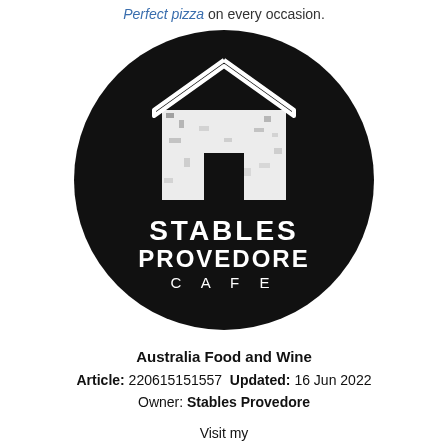Perfect pizza on every occasion.
[Figure (logo): Stables Provedore Cafe circular black logo with a distressed white barn/stable house icon and white text reading STABLES PROVEDORE CAFE]
Australia Food and Wine
Article: 220615151557  Updated: 16 Jun 2022
Owner: Stables Provedore
Visit my